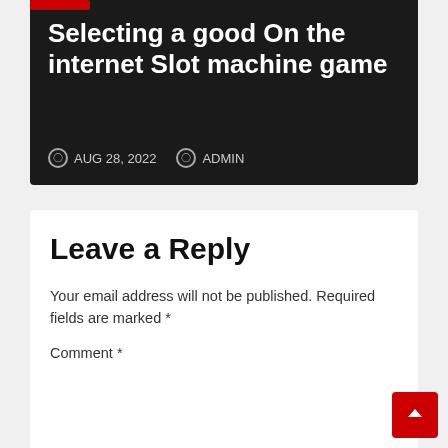Selecting a good On the internet Slot machine game
AUG 28, 2022  ADMIN
Leave a Reply
Your email address will not be published. Required fields are marked *
Comment *